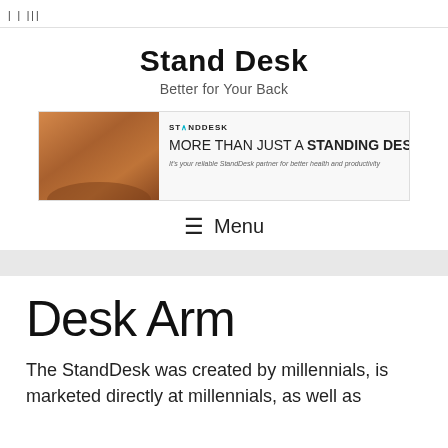| | |||
Stand Desk
Better for Your Back
[Figure (infographic): Stand Desk advertisement banner showing wooden desk surface on the left with text: MORE THAN JUST A STANDING DESK. It's your reliable StandDesk partner for better health and productivity.]
≡ Menu
Desk Arm
The StandDesk was created by millennials, is marketed directly at millennials, as well as